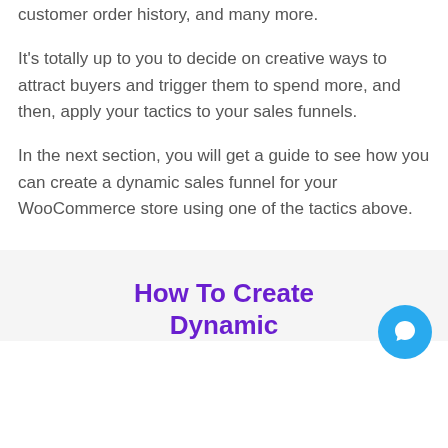customer order history, and many more.
It's totally up to you to decide on creative ways to attract buyers and trigger them to spend more, and then, apply your tactics to your sales funnels.
In the next section, you will get a guide to see how you can create a dynamic sales funnel for your WooCommerce store using one of the tactics above.
How To Create Dynamic